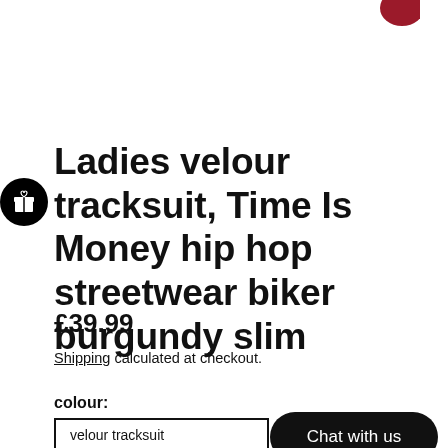[Figure (other): Partial red/burgundy product image visible at top right corner]
Ladies velour tracksuit, Time Is Money hip hop streetwear biker burgundy slim
£39.99
Shipping calculated at checkout.
colour:
velour tracksuit
Chat with us
Si